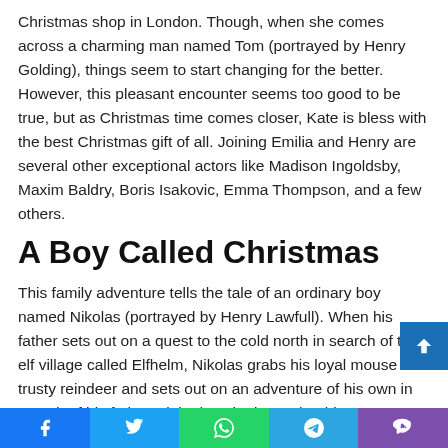Christmas shop in London. Though, when she comes across a charming man named Tom (portrayed by Henry Golding), things seem to start changing for the better. However, this pleasant encounter seems too good to be true, but as Christmas time comes closer, Kate is bless with the best Christmas gift of all. Joining Emilia and Henry are several other exceptional actors like Madison Ingoldsby, Maxim Baldry, Boris Isakovic, Emma Thompson, and a few others.
A Boy Called Christmas
This family adventure tells the tale of an ordinary boy named Nikolas (portrayed by Henry Lawfull). When his father sets out on a quest to the cold north in search of the elf village called Elfhelm, Nikolas grabs his loyal mouse and trusty reindeer and sets out on an adventure of his own in search of his father. Little does he know that his own magical destiny awaits him at